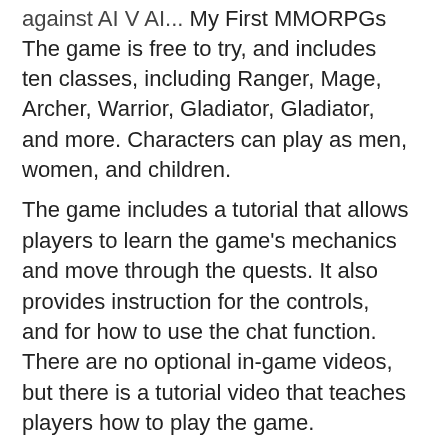against AI V AI...
My First MMORPGs
The game is free to try, and includes ten classes, including Ranger, Mage, Archer, Warrior, Gladiator, Gladiator, and more. Characters can play as men, women, and children.
The game includes a tutorial that allows players to learn the game's mechanics and move through the quests. It also provides instruction for the controls, and for how to use the chat function. There are no optional in-game videos, but there is a tutorial video that teaches players how to play the game.
The game itself includes tutorials, which teach players how to fight, how to create and manage a character, how to explore the game's world, and how to talk to people. A section of the tutorial includes a basic introduction to the game's graphics and UI. There are also two text tutorials, which teach players how to properly fight, and how to